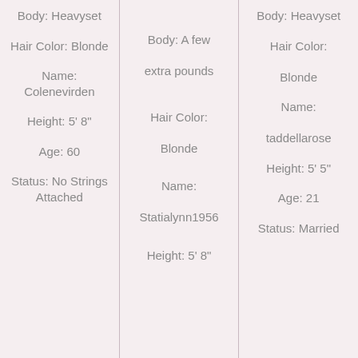Body: Heavyset
Hair Color: Blonde
Name: Colenevirden
Height: 5' 8"
Age: 60
Status: No Strings Attached
Body: A few extra pounds
Hair Color: Blonde
Name: Statialynn1956
Height: 5' 8"
Body: Heavyset
Hair Color: Blonde
Name: taddellarose
Height: 5' 5"
Age: 21
Status: Married